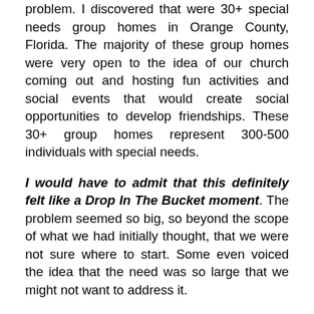problem. I discovered that were 30+ special needs group homes in Orange County, Florida. The majority of these group homes were very open to the idea of our church coming out and hosting fun activities and social events that would create social opportunities to develop friendships. These 30+ group homes represent 300-500 individuals with special needs.
I would have to admit that this definitely felt like a Drop In The Bucket moment. The problem seemed so big, so beyond the scope of what we had initially thought, that we were not sure where to start. Some even voiced the idea that the need was so large that we might not want to address it.
However as we prayed about it and read through Jesus's words in Matthew chapter 25, the Holy Spirit helped us to